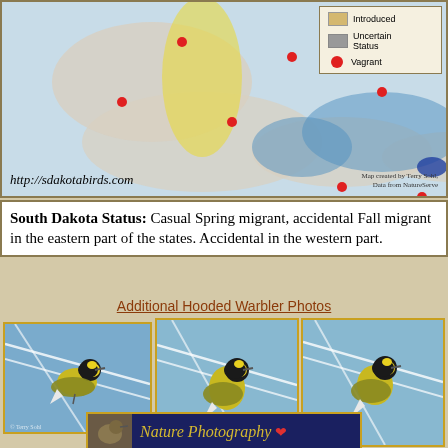[Figure (map): Range map of Hooded Warbler showing distribution across North and Central America with legend showing Introduced (tan), Uncertain Status (gray), and Vagrant (red dot) categories. URL: http://sdakotabirds.com. Credit: Map created by Terry Sohl, Data from NatureServe.]
South Dakota Status: Casual Spring migrant, accidental Fall migrant in the eastern part of the states. Accidental in the western part.
Additional Hooded Warbler Photos
[Figure (photo): Three photos of Hooded Warbler bird (yellow and black) perched on wire/cable against blue sky background.]
[Figure (photo): Banner showing Nature Photography with bird image on dark blue background with gold border.]